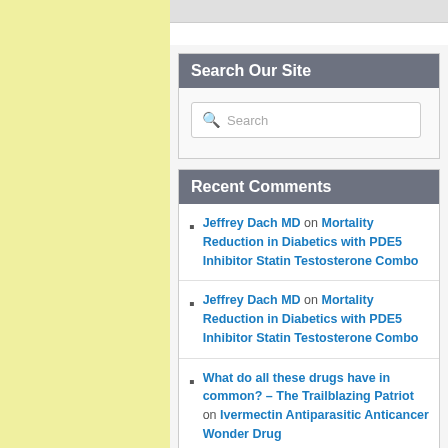Search Our Site
Search
Recent Comments
Jeffrey Dach MD on Mortality Reduction in Diabetics with PDE5 Inhibitor Statin Testosterone Combo
Jeffrey Dach MD on Mortality Reduction in Diabetics with PDE5 Inhibitor Statin Testosterone Combo
What do all these drugs have in common? – The Trailblazing Patriot on Ivermectin Antiparasitic Anticancer Wonder Drug
Jeffrey Dach MD on More Deceptive Drug Marketing from the New York Times